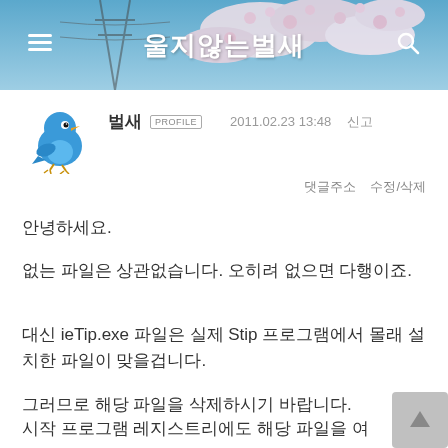울지않는벌새
[Figure (illustration): Blue Twitter bird mascot icon]
벌새 PROFILE   2011.02.23 13:48   신고
댓글주소   수정/삭제
안녕하세요.
없는 파일은 상관없습니다. 오히려 없으면 다행이죠.
대신 ieTip.exe 파일은 실제 Stip 프로그램에서 몰래 설치한 파일이 맞을겁니다.
그러므로 해당 파일을 삭제하시기 바랍니다.
시작 프로그램 레지스트리에도 해당 파일을 여